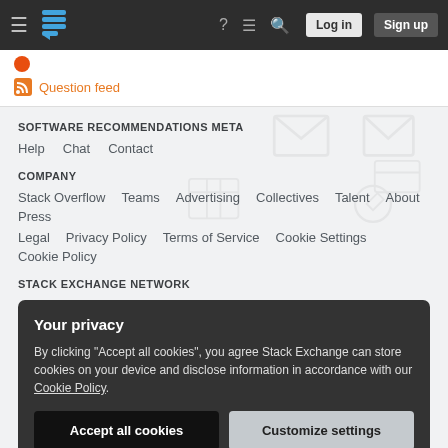Stack Exchange navigation bar with hamburger menu, logo, help, chat, search icons, Log in and Sign up buttons
[Figure (logo): Stack Exchange logo icon (blue stacked layers)]
Question feed
SOFTWARE RECOMMENDATIONS META
Help
Chat
Contact
COMPANY
Stack Overflow  Teams  Advertising  Collectives  Talent  About  Press
Legal  Privacy Policy  Terms of Service  Cookie Settings  Cookie Policy
STACK EXCHANGE NETWORK
Your privacy
By clicking "Accept all cookies", you agree Stack Exchange can store cookies on your device and disclose information in accordance with our Cookie Policy.
Accept all cookies
Customize settings